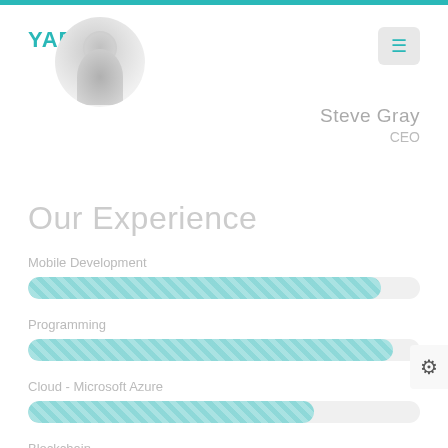YARG
Steve Gray
CEO
Our Experience
Mobile Development
[Figure (other): Teal striped horizontal progress bar for Mobile Development, approximately 90% filled]
Programming
[Figure (other): Teal striped horizontal progress bar for Programming, approximately 93% filled]
Cloud - Microsoft Azure
[Figure (other): Teal striped horizontal progress bar for Cloud - Microsoft Azure, approximately 73% filled]
Blockchain
[Figure (other): Teal striped horizontal progress bar for Blockchain, approximately 68% filled]